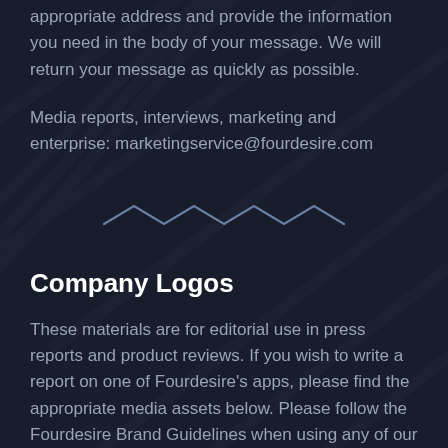appropriate address and provide the information you need in the body of your message. We will return your message as quickly as possible.
Media reports, interviews, marketing and enterprise: marketingservice@fourdesire.com
[Figure (illustration): Decorative zigzag/chevron divider line in muted blue-grey color]
Company Logos
These materials are for editorial use in press reports and product reviews. If you wish to write a report on one of Fourdesire's apps, please find the appropriate media assets below. Please follow the Fourdesire Brand Guidelines when using any of our assets.